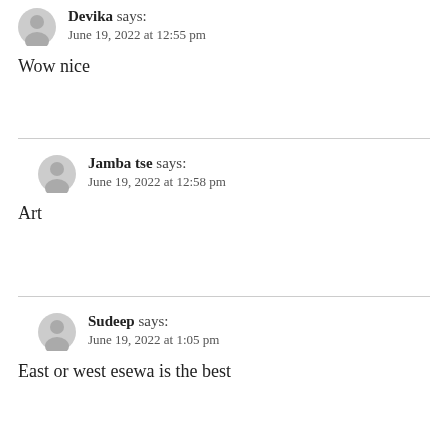Devika says: June 19, 2022 at 12:55 pm
Wow nice
Jamba tse says: June 19, 2022 at 12:58 pm
Art
Sudeep says: June 19, 2022 at 1:05 pm
East or west esewa is the best